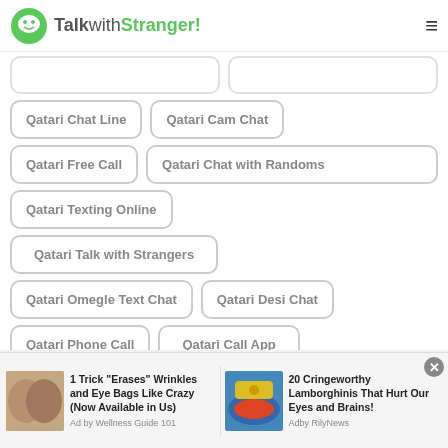TalkwithStranger!
Qatari Chat Line
Qatari Cam Chat
Qatari Free Call
Qatari Chat with Randoms
Qatari Texting Online
Qatari Talk with Strangers
Qatari Omegle Text Chat
Qatari Desi Chat
Qatari Phone Call
Qatari Call App
Qatari Talk & Text
Qatari Calling
Qatari Omegle Girls
Qatari Call App
[Figure (screenshot): Advertisement banner with two ads: '1 Trick Erases Wrinkles and Eye Bags Like Crazy (Now Available in Us) - Ad by Wellness Guide 101' and '20 Cringeworthy Lamborghinis That Hurt Our Eyes and Brains! - Ad by RilyNews']